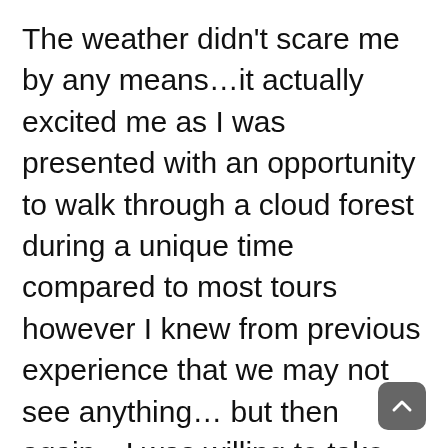The weather didn't scare me by any means…it actually excited me as I was presented with an opportunity to walk through a cloud forest during a unique time compared to most tours however I knew from previous experience that we may not see anything… but then again…I was willing to take that chance!